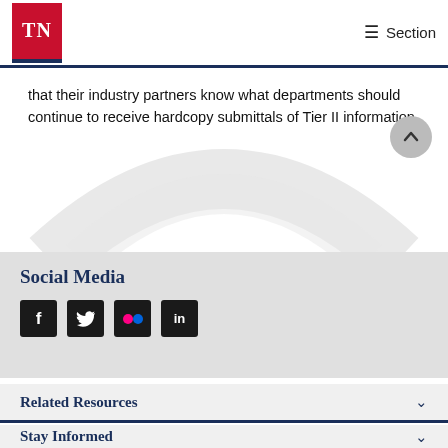TN | Section
that their industry partners know what departments should continue to receive hardcopy submittals of Tier II information.
Social Media
[Figure (infographic): Social media icons: Facebook, Twitter, Flickr, LinkedIn]
Related Resources
Stay Informed
Across the State